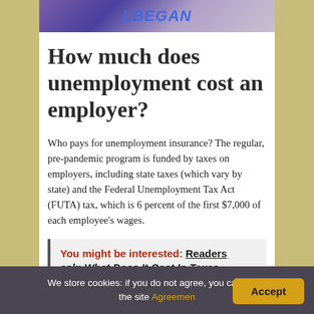[Figure (photo): Partial photo strip at top of article showing stylized text and people in background]
How much does unemployment cost an employer?
Who pays for unemployment insurance? The regular, pre-pandemic program is funded by taxes on employers, including state taxes (which vary by state) and the Federal Unemployment Tax Act (FUTA) tax, which is 6 percent of the first $7,000 of each employee's wages.
You might be interested: Readers ask: What Does It Cost In Texas...
We store cookies: if you do not agree, you can close the site Agreemen